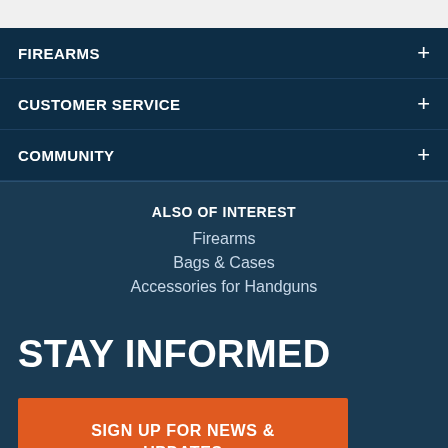FIREARMS
CUSTOMER SERVICE
COMMUNITY
ALSO OF INTEREST
Firearms
Bags & Cases
Accessories for Handguns
STAY INFORMED
SIGN UP FOR NEWS & UPDATES